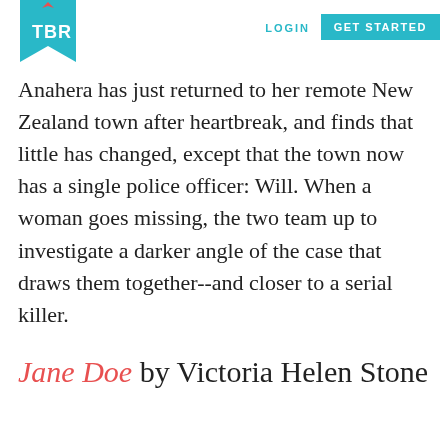TBR | LOGIN | GET STARTED
Anahera has just returned to her remote New Zealand town after heartbreak, and finds that little has changed, except that the town now has a single police officer: Will. When a woman goes missing, the two team up to investigate a darker angle of the case that draws them together--and closer to a serial killer.
Jane Doe by Victoria Helen Stone